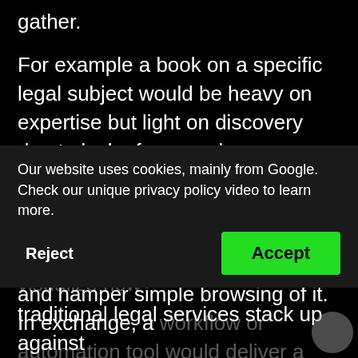gather.
For example a book on a specific legal subject would be heavy on expertise but light on discovery due to lack of more advance discovery mechanisms that go beyond the table of contents or index. While a workflow tool might hide the expertise with technology and hamper simple browsing of it. In exchange, a workflow or automation tool would deliver a mo... ...d end result.
Our website uses cookies, mainly from Google. Check our unique privacy policy video to learn more.
Reject
Accept
So the goal of this exercise is to visualize how traditional legal services stack up against